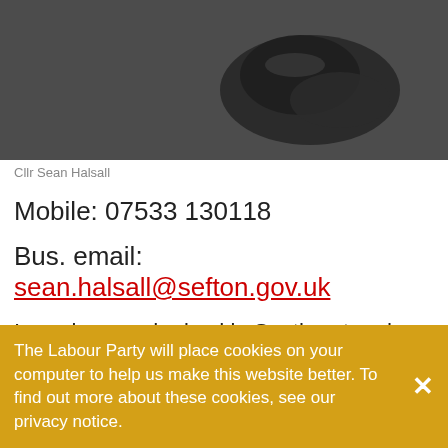[Figure (photo): Partial photo of Cllr Sean Halsall, showing lower body/feet area on a carpet background]
Cllr Sean Halsall
Mobile: 07533 130118
Bus. email: sean.halsall@sefton.gov.uk
I was born and raised in Southport and have lived here all my life. I spent 16 years driving buses locally serving the people of Southport, also seeing how our public transport has been reduced brutally leaving people isolated. I was elected as a councillor in Kew Ward in 2019 being one of the first 5 elected Labour Councillors in Southport since
The Labour Party will place cookies on your computer to help us make this website better. To find out more about these cookies, see our privacy notice.